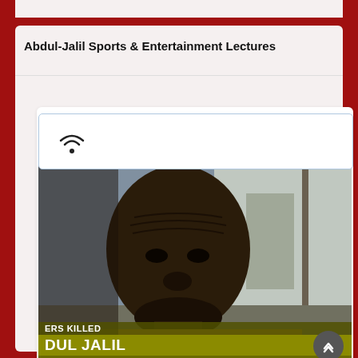Abdul-Jalil Sports & Entertainment Lectures
[Figure (screenshot): Video thumbnail showing a close-up of a man's face being interviewed outdoors, with a news lower-third overlay reading 'ERS KILLED' on top line, 'DUL JALIL' as name, and 'LAND RESIDENT' as chyron title. A wifi/broadcast icon appears in a white bar above the video.]